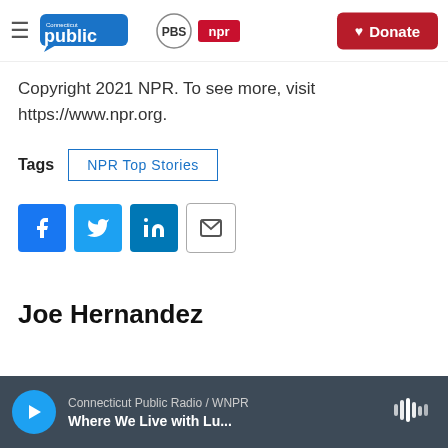Connecticut Public / PBS / NPR — Donate
Copyright 2021 NPR. To see more, visit https://www.npr.org.
Tags   NPR Top Stories
[Figure (infographic): Social share buttons: Facebook, Twitter, LinkedIn, Email]
Joe Hernandez
Connecticut Public Radio / WNPR — Where We Live with Lu...